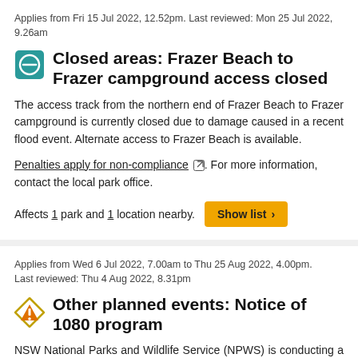Applies from Fri 15 Jul 2022, 12.52pm. Last reviewed: Mon 25 Jul 2022, 9.26am
Closed areas: Frazer Beach to Frazer campground access closed
The access track from the northern end of Frazer Beach to Frazer campground is currently closed due to damage caused in a recent flood event. Alternate access to Frazer Beach is available.
Penalties apply for non-compliance. For more information, contact the local park office.
Affects 1 park and 1 location nearby.
Applies from Wed 6 Jul 2022, 7.00am to Thu 25 Aug 2022, 4.00pm. Last reviewed: Thu 4 Aug 2022, 8.31pm
Other planned events: Notice of 1080 program
NSW National Parks and Wildlife Service (NPWS) is conducting a ground baiting program in Bouddi National Park from Wednesday 6 July to Thursday 25 August 2022.
The operation will use 1080 (sodium fluoroacetate) poison for the